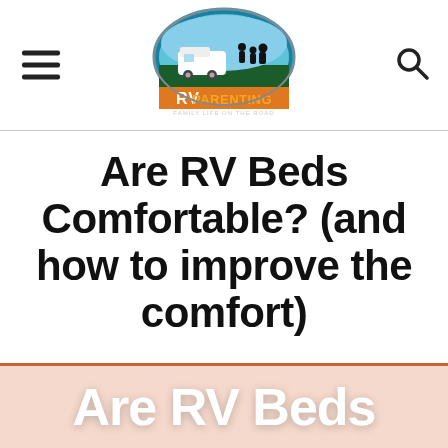[Figure (logo): RV Parenting logo - circular logo with RV and family silhouette, text reads FAMILY LIFE ON THE ROAD]
Are RV Beds Comfortable? (and how to improve the comfort)
[Figure (photo): Partial image at bottom with text 'Are RV Beds' on a salmon/peach background]